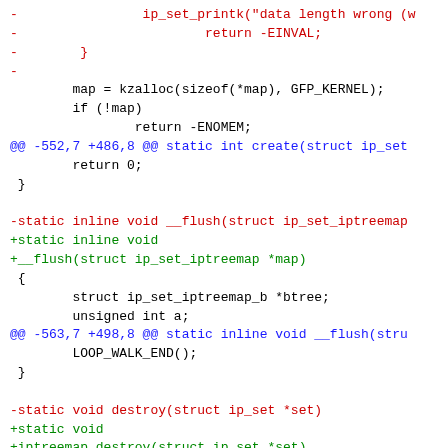[Figure (screenshot): A unified diff / patch code snippet showing changes to C kernel network module functions including __flush and destroy/iptreemap_destroy, with red removed lines, green added lines, and blue context/hunk headers.]